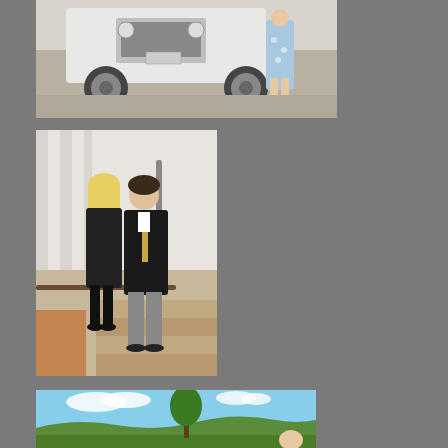[Figure (photo): Top photo: white Jeep vehicle parked on gravel, person in floral dress standing beside it, partial view from ground level]
[Figure (photo): Middle photo: a man and woman dressed formally in black attire posing together on stairs inside a venue with curtains and modern railings]
[Figure (photo): Bottom photo: scenic landscape view with blue sky, clouds, green trees and hills, person partially visible in foreground]